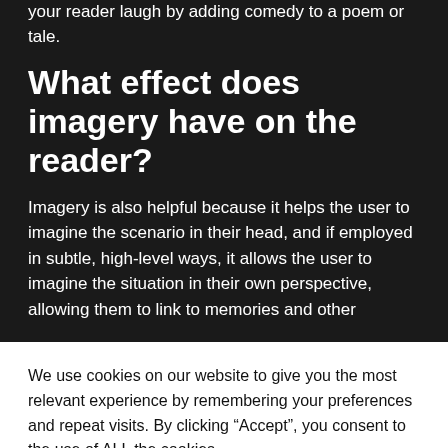your reader laugh by adding comedy to a poem or tale.
What effect does imagery have on the reader?
Imagery is also helpful because it helps the user to imagine the scenario in their head, and if employed in subtle, high-level ways, it allows the user to imagine the situation in their own perspective, allowing them to link to memories and other
We use cookies on our website to give you the most relevant experience by remembering your preferences and repeat visits. By clicking “Accept”, you consent to the use of ALL the cookies.
Do not sell my personal information.